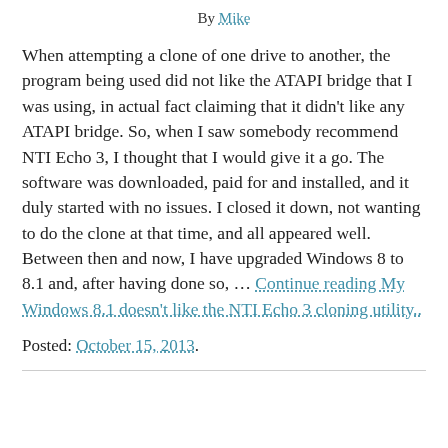By Mike
When attempting a clone of one drive to another, the program being used did not like the ATAPI bridge that I was using, in actual fact claiming that it didn't like any ATAPI bridge. So, when I saw somebody recommend NTI Echo 3, I thought that I would give it a go. The software was downloaded, paid for and installed, and it duly started with no issues. I closed it down, not wanting to do the clone at that time, and all appeared well. Between then and now, I have upgraded Windows 8 to 8.1 and, after having done so, … Continue reading My Windows 8.1 doesn't like the NTI Echo 3 cloning utility..
Posted: October 15, 2013.